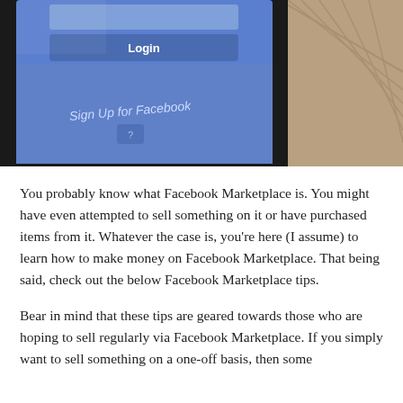[Figure (photo): Close-up photograph of a smartphone screen showing the Facebook login page with a 'Login' button and 'Sign Up for Facebook' link, on a blue background. The phone is resting at an angle on a wooden surface.]
You probably know what Facebook Marketplace is. You might have even attempted to sell something on it or have purchased items from it. Whatever the case is, you’re here (I assume) to learn how to make money on Facebook Marketplace. That being said, check out the below Facebook Marketplace tips.
Bear in mind that these tips are geared towards those who are hoping to sell regularly via Facebook Marketplace. If you simply want to sell something on a one-off basis, then some